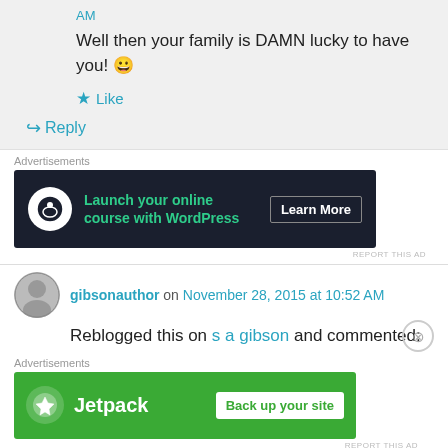AM
Well then your family is DAMN lucky to have you! 😀
Like
Reply
Advertisements
[Figure (screenshot): Dark advertisement banner: Launch your online course with WordPress. Learn More button.]
REPORT THIS AD
gibsonauthor on November 28, 2015 at 10:52 AM
Reblogged this on s a gibson and commented:
Advertisements
[Figure (screenshot): Green Jetpack advertisement banner: Back up your site.]
REPORT THIS AD